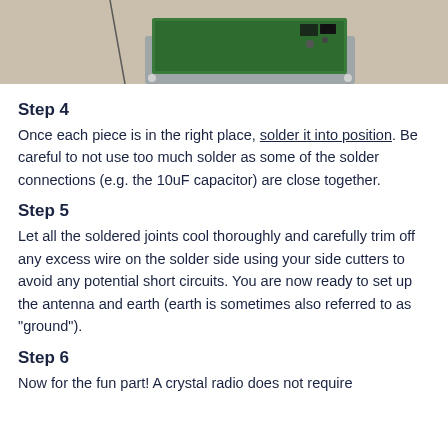[Figure (photo): Partial view of a circuit board (green PCB) placed on a grey metal plate, with a thin wire/tool visible on the left side. The photo is cropped showing the top portion of the assembly on a beige background.]
Step 4
Once each piece is in the right place, solder it into position. Be careful to not use too much solder as some of the solder connections (e.g. the 10uF capacitor) are close together.
Step 5
Let all the soldered joints cool thoroughly and carefully trim off any excess wire on the solder side using your side cutters to avoid any potential short circuits. You are now ready to set up the antenna and earth (earth is sometimes also referred to as "ground").
Step 6
Now for the fun part! A crystal radio does not require